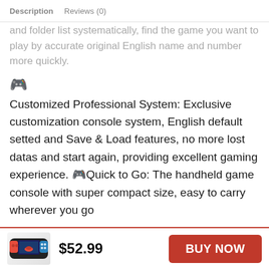Description   Reviews (0)
and folder list systematically, find the game you want to play by accurate original English name and number more quickly.
[Figure (illustration): Gamepad/controller emoji icon]
Customized Professional System: Exclusive customization console system, English default setted and Save & Load features, no more lost datas and start again, providing excellent gaming experience. 🎮Quick to Go: The handheld game console with super compact size, easy to carry wherever you go
[Figure (photo): Product image of a handheld game console with red and blue colors showing a racing game on screen]
$52.99
BUY NOW